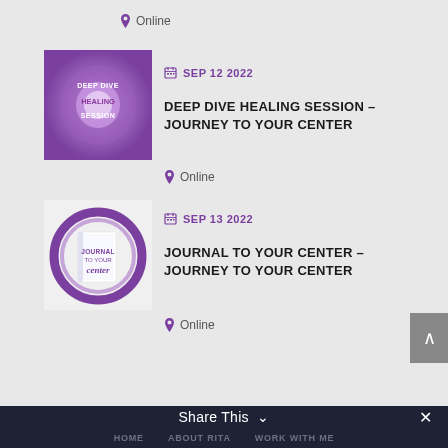Online
[Figure (illustration): Purple/violet abstract background with text DEEP DIVE HEALING SESSION in white]
SEP 12 2022
DEEP DIVE HEALING SESSION – JOURNEY TO YOUR CENTER
Online
[Figure (illustration): Journal to Your Center book cover with purple circular design]
SEP 13 2022
JOURNAL TO YOUR CENTER – JOURNEY TO YOUR CENTER
Online
Share This  ✕  HOME  ABOUT RITA  WORK WITH ME